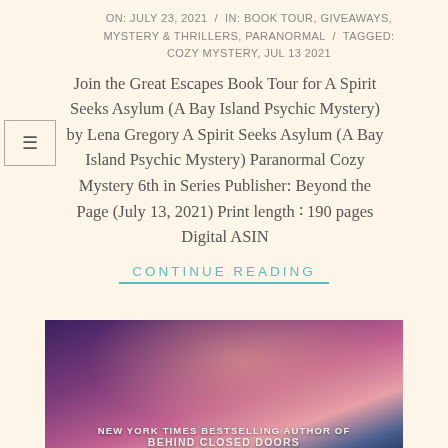ON: JULY 23, 2021 / IN: BOOK TOUR, GIVEAWAYS, MYSTERY & THRILLERS, PARANORMAL / TAGGED: COZY MYSTERY, JUL 13 2021
Join the Great Escapes Book Tour for A Spirit Seeks Asylum (A Bay Island Psychic Mystery) by Lena Gregory A Spirit Seeks Asylum (A Bay Island Psychic Mystery) Paranormal Cozy Mystery 6th in Series Publisher: Beyond the Page (July 13, 2021) Print length : 190 pages Digital ASIN
CONTINUE READING
[Figure (photo): Book cover photo showing a person's shoulder/back, dark moody blue-purple tones, with text 'NEW YORK TIMES BESTSELLING AUTHOR OF BEHIND CLOSED DOORS']